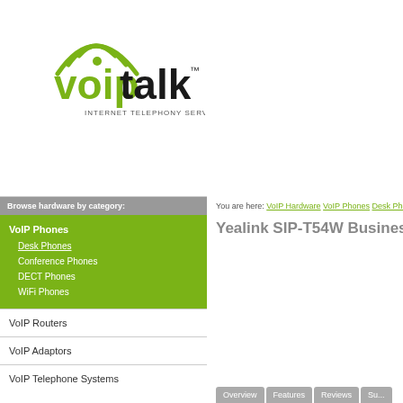[Figure (logo): VoIPtalk logo — green 'voip' text with wifi arc above, black 'talk' text, TM superscript, tagline 'INTERNET TELEPHONY SERVICE']
Browse hardware by category:
VoIP Phones
Desk Phones
Conference Phones
DECT Phones
WiFi Phones
VoIP Routers
VoIP Adaptors
VoIP Telephone Systems
You are here: VoIP Hardware VoIP Phones Desk Pho...
Yealink SIP-T54W Business
Overview | Features | Reviews | Su...